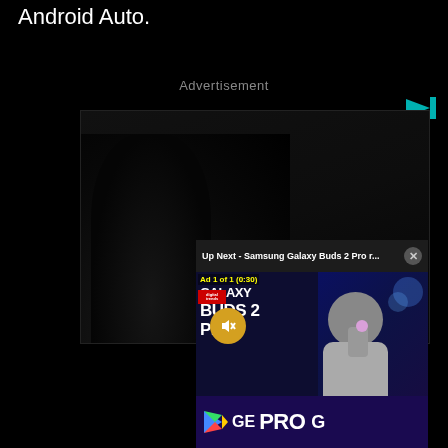Android Auto.
Advertisement
[Figure (screenshot): Advertisement video player showing a dark background with a shadowy figure, overlaid with an 'Up Next - Samsung Galaxy Buds 2 Pro r...' bar, a video thumbnail for Galaxy Buds 2 Pro featuring a man holding an earbud, a muted audio button, ad counter '1 of 1 (0:30)', Digital Trends logo, and a Google Play banner at the bottom showing 'GALAXY BUDS 2 PRO' text.]